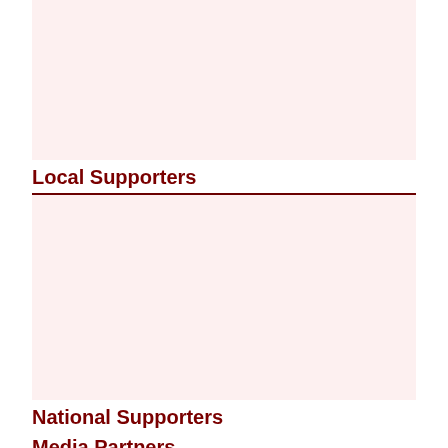[Figure (other): Top image area with light pink/cream background, appears to contain sponsor logos (content not visible)]
Local Supporters
[Figure (other): Local supporters image area with light pink/cream background, appears to contain sponsor logos (content not visible)]
National Supporters
Media Partners